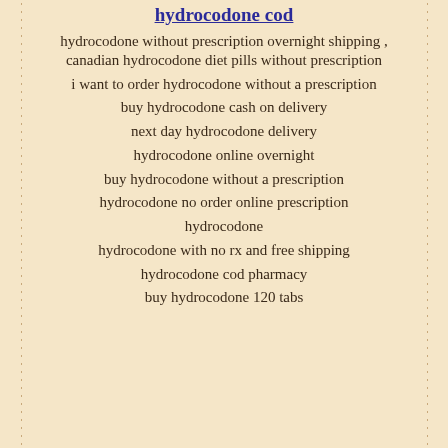hydrocodone cod
hydrocodone without prescription overnight shipping , canadian hydrocodone diet pills without prescription
i want to order hydrocodone without a prescription
buy hydrocodone cash on delivery
next day hydrocodone delivery
hydrocodone online overnight
buy hydrocodone without a prescription
hydrocodone no order online prescription
hydrocodone
hydrocodone with no rx and free shipping
hydrocodone cod pharmacy
buy hydrocodone 120 tabs